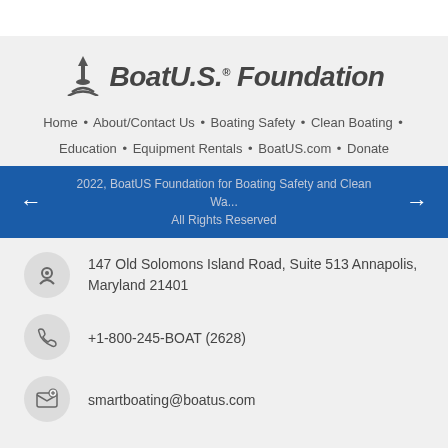[Figure (logo): BoatU.S. Foundation logo with lighthouse/boat icon and bold italic text]
Home · About/Contact Us · Boating Safety · Clean Boating · Education · Equipment Rentals · BoatUS.com · Donate
2022, BoatUS Foundation for Boating Safety and Clean Water. All Rights Reserved
147 Old Solomons Island Road, Suite 513 Annapolis, Maryland 21401
+1-800-245-BOAT (2628)
smartboating@boatus.com